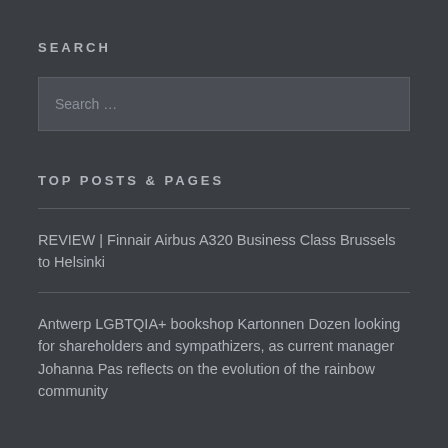SEARCH
Search …
TOP POSTS & PAGES
REVIEW | Finnair Airbus A320 Business Class Brussels to Helsinki
Antwerp LGBTQIA+ bookshop Kartonnen Dozen looking for shareholders and sympathizers, as current manager Johanna Pas reflects on the evolution of the rainbow community